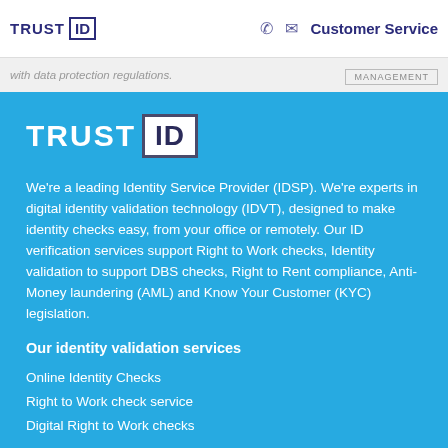TRUST ID | Customer Service | MANAGEMENT
with data protection regulations.
[Figure (logo): TrustID logo - large white text TRUST with ID in a dark-bordered white box on blue background]
We're a leading Identity Service Provider (IDSP). We're experts in digital identity validation technology (IDVT), designed to make identity checks easy, from your office or remotely. Our ID verification services support Right to Work checks, Identity validation to support DBS checks, Right to Rent compliance, Anti-Money laundering (AML) and Know Your Customer (KYC) legislation.
Our identity validation services
Online Identity Checks
Right to Work check service
Digital Right to Work checks